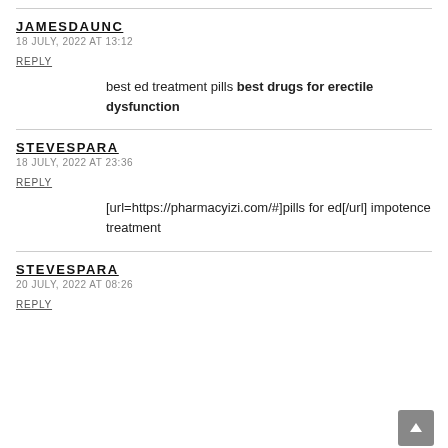JAMESDAUNC
18 JULY, 2022 AT 13:12
REPLY
best ed treatment pills best drugs for erectile dysfunction
STEVESPARA
18 JULY, 2022 AT 23:36
REPLY
[url=https://pharmacyizi.com/#]pills for ed[/url] impotence treatment
STEVESPARA
20 JULY, 2022 AT 08:26
REPLY